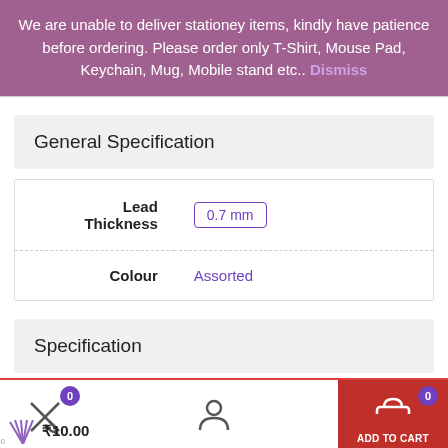We are unable to deliver stationey items, kindly have patience before ordering. Please order only T-Shirt, Mouse Pad, Keychain, Mug, Mobile stand etc.. Dismiss
General Specification
| Property | Value |
| --- | --- |
| Lead Thickness | 0.7 mm |
| Colour | Assorted |
Specification
| Property | Value |
| --- | --- |
| Country Of | India |